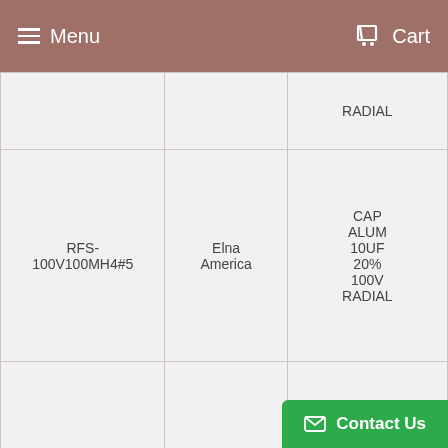Menu  Cart
|  |  | RADIAL |
| RFS-100V100MH4#5 | Elna America | CAP ALUM 10UF 20% 100V RADIAL |
| RFS-50V470MH4#5 | Elna America | CAP ALUM 47UF 20% 50V RADIAL |
|  |  | CAP |